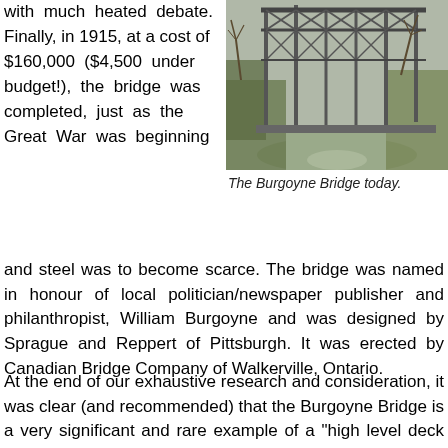with much heated debate. Finally, in 1915, at a cost of $160,000 ($4,500 under budget!), the bridge was completed, just as the Great War was beginning
[Figure (photo): Photograph of the Burgoyne Bridge today, showing a steel truss bridge structure over a path with bare trees and hillside vegetation.]
The Burgoyne Bridge today.
and steel was to become scarce. The bridge was named in honour of local politician/newspaper publisher and philanthropist, William Burgoyne and was designed by Sprague and Reppert of Pittsburgh. It was erected by Canadian Bridge Company of Walkerville, Ontario.
At the end of our exhaustive research and consideration, it was clear (and recommended) that the Burgoyne Bridge is a very significant and rare example of a "high level deck truss and slab on steel girder bridge, supported by steel bents on concrete pedestals". The now-celebrated bridge is the